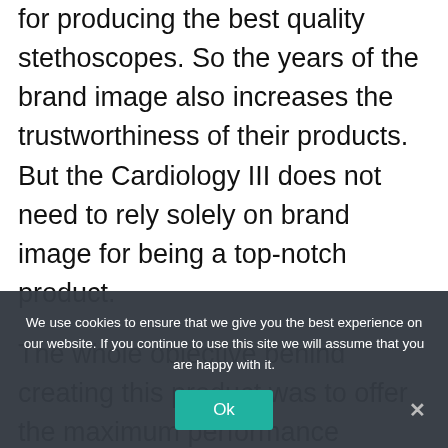for producing the best quality stethoscopes. So the years of the brand image also increases the trustworthiness of their products. But the Cardiology III does not need to rely solely on brand image for being a top-notch product.
The whole objective behind creating this product was to offer the maximum performance possible at the most affordable and competitive price range.
Not to mention the reliability of an old and trusted
We use cookies to ensure that we give you the best experience on our website. If you continue to use this site we will assume that you are happy with it.